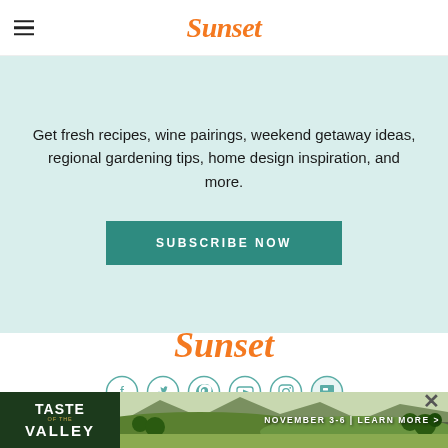Sunset
Get fresh recipes, wine pairings, weekend getaway ideas, regional gardening tips, home design inspiration, and more.
SUBSCRIBE NOW
[Figure (logo): Sunset magazine logo in orange italic script font]
[Figure (infographic): Row of social media icon circles: Facebook, Twitter, Pinterest, YouTube, Instagram, Flipboard]
[Figure (photo): Taste of the Valley advertisement banner with landscape photo and text 'NOVEMBER 3-6 | LEARN MORE >']